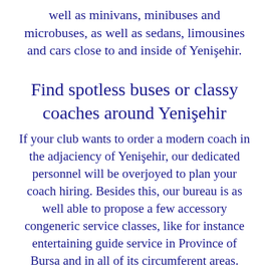well as minivans, minibuses and microbuses, as well as sedans, limousines and cars close to and inside of Yenişehir.
Find spotless buses or classy coaches around Yenişehir
If your club wants to order a modern coach in the adjaciency of Yenişehir, our dedicated personnel will be overjoyed to plan your coach hiring. Besides this, our bureau is as well able to propose a few accessory congeneric service classes, like for instance entertaining guide service in Province of Bursa and in all of its circumferent areas.